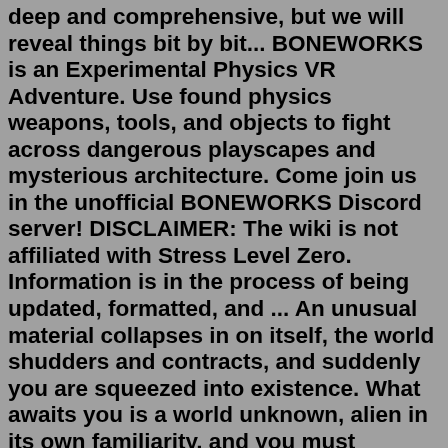deep and comprehensive, but we will reveal things bit by bit... BONEWORKS is an Experimental Physics VR Adventure. Use found physics weapons, tools, and objects to fight across dangerous playscapes and mysterious architecture. Come join us in the unofficial BONEWORKS Discord server! DISCLAIMER: The wiki is not affiliated with Stress Level Zero. Information is in the process of being updated, formatted, and ... An unusual material collapses in on itself, the world shudders and contracts, and suddenly you are squeezed into existence. What awaits you is a world unknown, alien in its own familiarity, and you must survive what terrors you face. Explore your surreal surroundings, absorb the many enemies you encounter, and use their own traits against them ... GTFO is a hardcore survival/horror 4 player cooperative first-person shooter, with a strong focus on team play and atmosphere and features edge-of-your-seat suspense, team-based puzzle-solving and high-intensity combat. GTFO is developed by Swedish indie studio 10